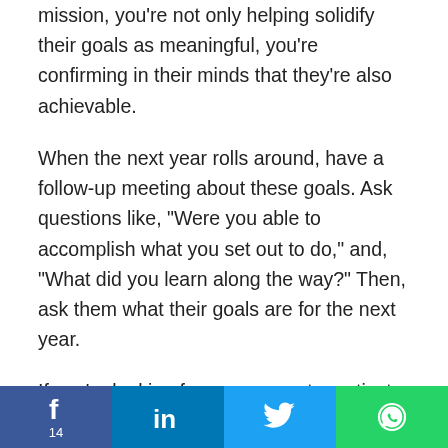mission, you're not only helping solidify their goals as meaningful, you're confirming in their minds that they're also achievable.
When the next year rolls around, have a follow-up meeting about these goals. Ask questions like, "Were you able to accomplish what you set out to do," and, "What did you learn along the way?" Then, ask them what their goals are for the next year.
If you're looking for more ways to motivate your
[Figure (infographic): Social sharing bar at bottom of page with four buttons: Facebook (dark blue, f icon, number 14), LinkedIn (blue, in icon), Twitter (light blue, bird icon), WhatsApp (green, phone icon)]